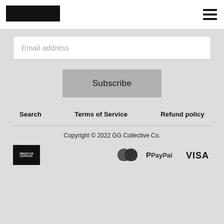[Figure (logo): Black rectangular logo bar in top left header]
[Figure (illustration): Hamburger menu icon (three horizontal lines) in top right header]
Email address
Subscribe
Search
Terms of Service
Refund policy
Copyright © 2022 GG Collective Co.
[Figure (logo): Payment icons: American Express, MasterCard, PayPal, VISA]